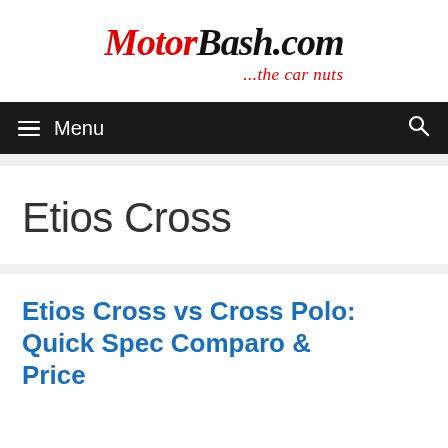[Figure (logo): MotorBash.com logo with tagline '...the car nuts'. 'Motor' in red italic, 'Bash.com' in black italic bold, tagline in red italic below.]
≡ Menu
Etios Cross
Etios Cross vs Cross Polo: Quick Spec Comparo & Price